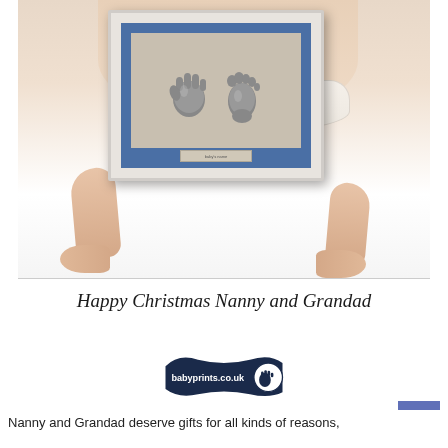[Figure (photo): A baby holding up a white picture frame containing silver 3D cast sculptures of a baby hand and foot, set against a blue mat background. The baby's legs and feet are visible at the bottom of the image.]
Happy Christmas Nanny and Grandad
[Figure (logo): babyprints.co.uk logo — dark navy banner shape with white text 'babyprints.co.uk' and a white hand print icon in a circle on the right]
Nanny and Grandad deserve gifts for all kinds of reasons,